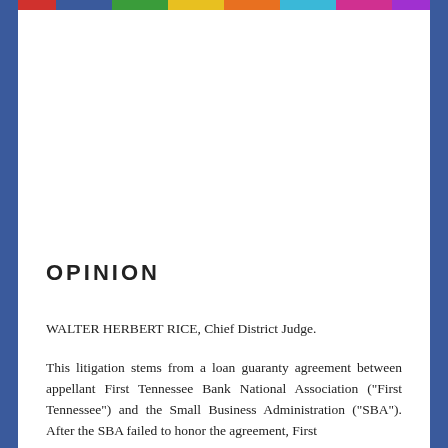OPINION
WALTER HERBERT RICE, Chief District Judge.
This litigation stems from a loan guaranty agreement between appellant First Tennessee Bank National Association ("First Tennessee") and the Small Business Administration ("SBA"). After the SBA failed to honor the agreement, First